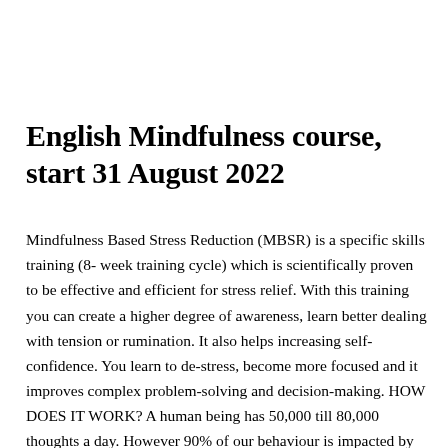English Mindfulness course, start 31 August 2022
Mindfulness Based Stress Reduction (MBSR) is a specific skills training (8- week training cycle) which is scientifically proven to be effective and efficient for stress relief. With this training you can create a higher degree of awareness, learn better dealing with tension or rumination. It also helps increasing self-confidence. You learn to de-stress, become more focused and it improves complex problem-solving and decision-making. HOW DOES IT WORK? A human being has 50,000 till 80,000 thoughts a day. However 90% of our behaviour is impacted by